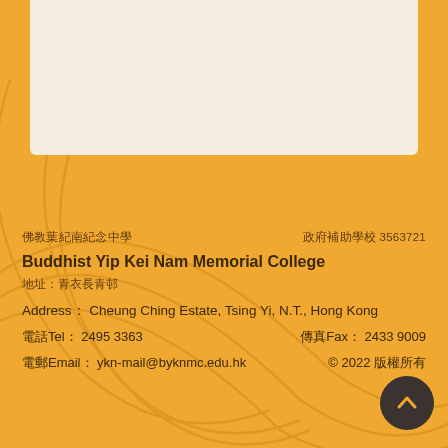[Figure (illustration): Decorative orange background with swirl patterns and a cream/beige card at the top]
佛教葉紀南紀念中學　　　　　　　　　　　　　　　　政府補助學校 3563721
Buddhist Yip Kei Nam Memorial College
地址：青衣長青邨
Address： Cheung Ching Estate, Tsing Yi, N.T., Hong Kong
電話Tel： 2495 3363　　　　　傳真Fax： 2433 9009
電郵Email： ykn-mail@byknmc.edu.hk　　© 2022 版權所有